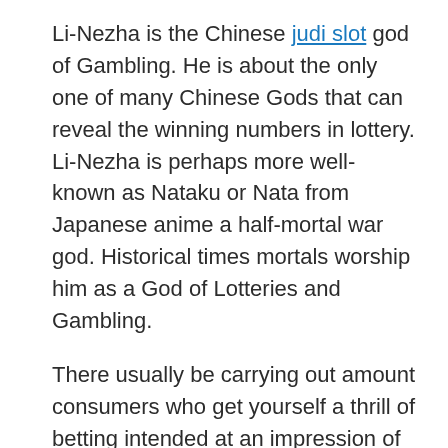Li-Nezha is the Chinese judi slot god of Gambling. He is about the only one of many Chinese Gods that can reveal the winning numbers in lottery. Li-Nezha is perhaps more well-known as Nataku or Nata from Japanese anime a half-mortal war god. Historical times mortals worship him as a God of Lotteries and Gambling.
There usually be carrying out amount consumers who get yourself a thrill of betting intended at an impression of the button, for players that way the high roller slots are finest option. Individuals also available for people the web. Online casinos are always on the ceaseless battle to cater towards various requirements for the roller